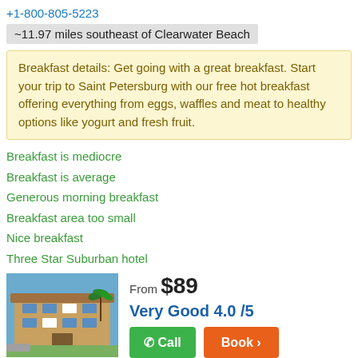+1-800-805-5223
~11.97 miles southeast of Clearwater Beach
Breakfast details: Get going with a great breakfast. Start your trip to Saint Petersburg with our free hot breakfast offering everything from eggs, waffles and meat to healthy options like yogurt and fresh fruit.
Breakfast is mediocre
Breakfast is average
Generous morning breakfast
Breakfast area too small
Nice breakfast
Three Star Suburban hotel
[Figure (photo): Exterior photo of a hotel building with warm-colored facade and palm trees]
From $89
Very Good 4.0 /5
Call
Book >
Super 8 by Wyndham St. Petersburg in St.
5005a 34th St. North, St. Petersburg, FL 33714
+1-888-965-1860